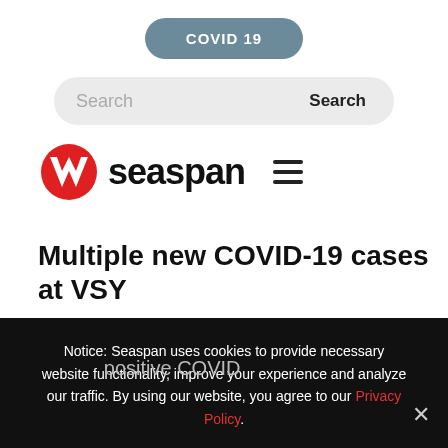COVID 19
[Figure (screenshot): Search bar with Search button on grey pill background]
[Figure (logo): Seaspan logo with red circular W icon and hamburger menu icon]
Multiple new COVID-19 cases at VSY
Team,
... positive COVID
Notice: Seaspan uses cookies to provide necessary website functionality, improve your experience and analyze our traffic. By using our website, you agree to our Privacy Policy.